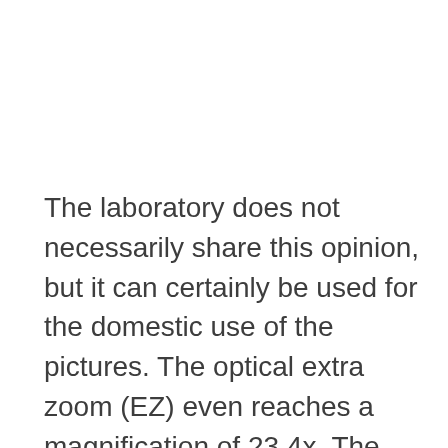The laboratory does not necessarily share this opinion, but it can certainly be used for the domestic use of the pictures. The optical extra zoom (EZ) even reaches a magnification of 23.4x. The price is a reduced